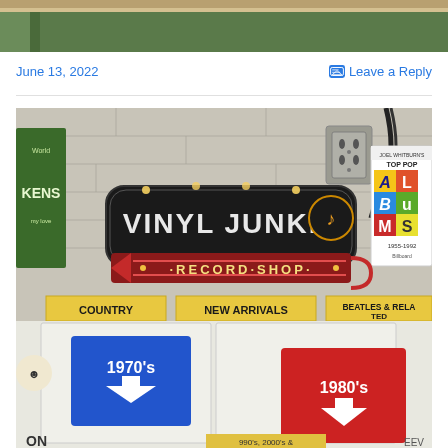[Figure (photo): Top portion of a photo, partially cropped, showing what appears to be a wooden surface or book top with a green background.]
June 13, 2022
Leave a Reply
[Figure (photo): Photo of a Vinyl Junkie Record Shop illuminated sign with a music note and arrow pointing left, mounted on a cinder block wall. Below the sign are record bins labeled COUNTRY, NEW ARRIVALS, BEATLES & RELATED, with category signs showing 1970's and 1980's decade markers. A book titled Joel Whitburn's Top Pop Albums 1955-1992 Billboard is visible on the right.]